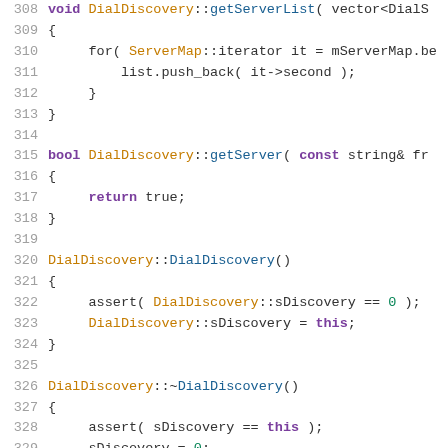[Figure (screenshot): Source code listing in C++ with syntax highlighting, showing lines 308-329 of a file implementing DialDiscovery methods: getServerList, getServer, constructor DialDiscovery(), and destructor ~DialDiscovery(). Line numbers in gray on left, keywords in purple, class/method names in orange/blue, operators and punctuation in dark gray.]